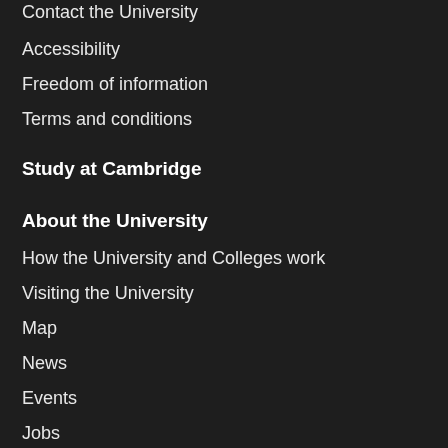Contact the University
Accessibility
Freedom of information
Terms and conditions
Study at Cambridge
About the University
How the University and Colleges work
Visiting the University
Map
News
Events
Jobs